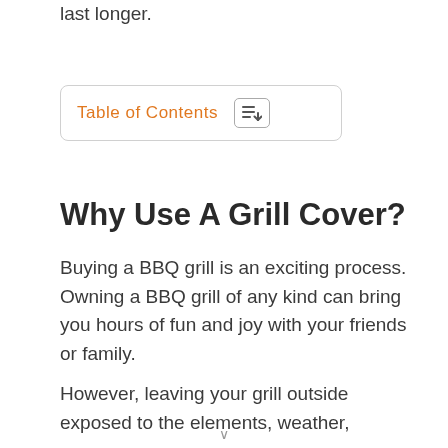last longer.
[Figure (other): Table of Contents button/widget with orange text label and an icon showing lines with a plus symbol]
Why Use A Grill Cover?
Buying a BBQ grill is an exciting process. Owning a BBQ grill of any kind can bring you hours of fun and joy with your friends or family.
However, leaving your grill outside exposed to the elements, weather,